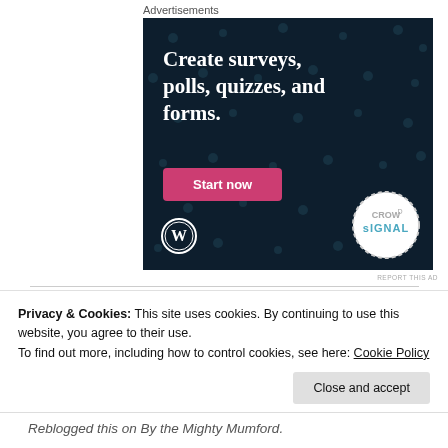Advertisements
[Figure (illustration): Crowdsignal advertisement banner with dark navy background and dot pattern. Text reads 'Create surveys, polls, quizzes, and forms.' with a pink 'Start now' button. WordPress logo bottom-left, Crowdsignal circular badge bottom-right.]
REPORT THIS AD
Privacy & Cookies: This site uses cookies. By continuing to use this website, you agree to their use.
To find out more, including how to control cookies, see here: Cookie Policy
Close and accept
Reblogged this on By the Mighty Mumford.